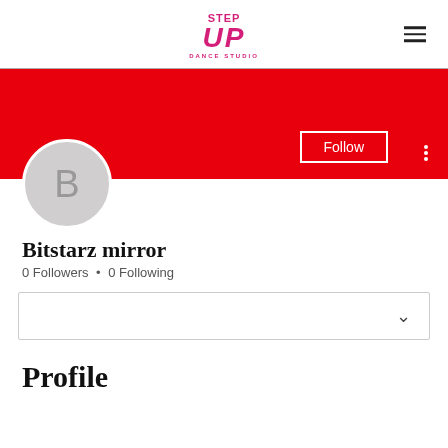STEP UP DANCE STUDIO logo and hamburger menu
[Figure (screenshot): Red banner / cover photo area for user profile]
[Figure (illustration): Circular grey avatar with letter B]
Bitstarz mirror
0 Followers • 0 Following
[Figure (other): Dropdown/selector box with chevron]
Profile